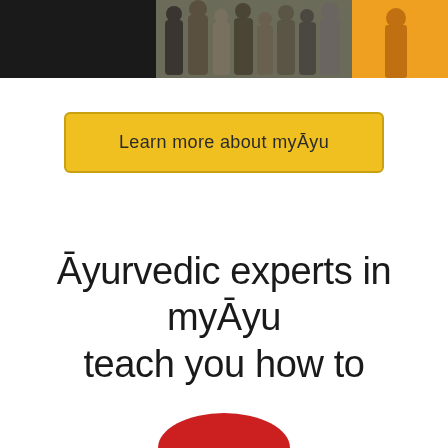[Figure (photo): Top portion of page showing partial images: a group of people on the left side and an orange/yellow background on the right side, cropped at the top]
Learn more about myĀyu
Āyurvedic experts in myĀyu teach you how to
[Figure (illustration): Red mushroom or dome shape partially visible at the bottom of the page]